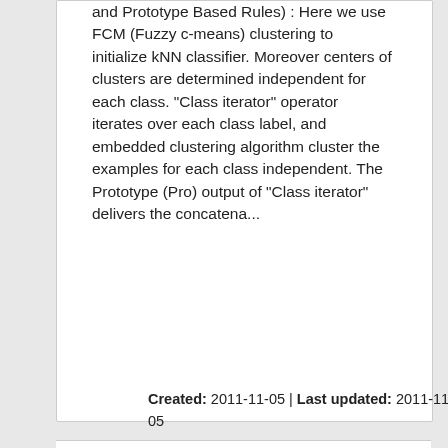and Prototype Based Rules) : Here we use FCM (Fuzzy c-means) clustering to initialize kNN classifier. Moreover centers of clusters are determined independent for each class. "Class iterator" operator iterates over each class label, and embedded clustering algorithm cluster the examples for each class independent. The Prototype (Pro) output of "Class iterator" delivers the concatena...
Created: 2011-11-05 | Last updated: 2011-11-05